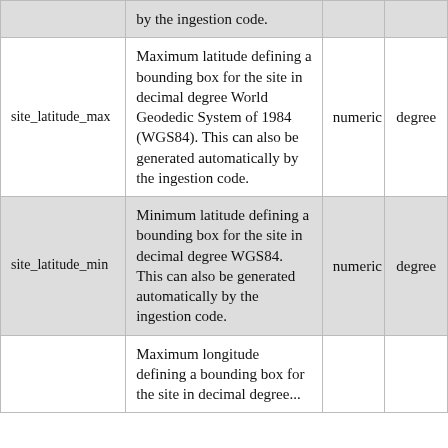| Field Name | Description | Type | Unit |
| --- | --- | --- | --- |
|  | by the ingestion code. |  |  |
| site_latitude_max | Maximum latitude defining a bounding box for the site in decimal degree World Geodedic System of 1984 (WGS84). This can also be generated automatically by the ingestion code. | numeric | degree |
| site_latitude_min | Minimum latitude defining a bounding box for the site in decimal degree WGS84. This can also be generated automatically by the ingestion code. | numeric | degree |
|  | Maximum longitude defining a bounding box for the site in decimal degree... |  |  |